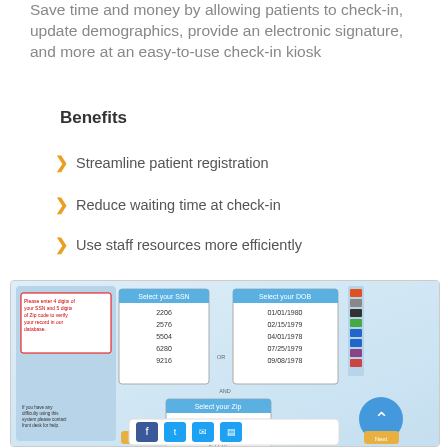Save time and money by allowing patients to check-in, update demographics, provide an electronic signature, and more at an easy-to-use check-in kiosk
Benefits
Streamline patient registration
Reduce waiting time at check-in
Use staff resources more efficiently
[Figure (screenshot): Screenshot of a patient check-in kiosk interface showing SSN selection, DOB selection, and Zip code selection panels with sample data entries, plus social media share buttons and navigation controls.]